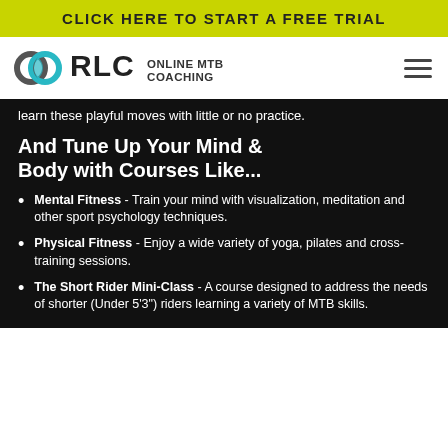CLICK HERE TO START A FREE TRIAL
[Figure (logo): RLC Online MTB Coaching logo with circular chain-link graphic and text 'RLC ONLINE MTB COACHING']
learn these playful moves with little or no practice.
And Tune Up Your Mind & Body with Courses Like...
Mental Fitness - Train your mind with visualization, meditation and other sport psychology techniques.
Physical Fitness - Enjoy a wide variety of yoga, pilates and cross-training sessions.
The Short Rider Mini-Class - A course designed to address the needs of shorter (Under 5'3") riders learning a variety of MTB skills.